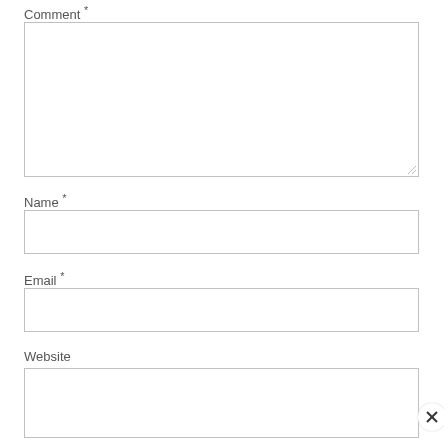Comment *
[Figure (other): Large textarea input box for comment field]
Name *
[Figure (other): Single-line input box for name field]
Email *
[Figure (other): Single-line input box for email field]
Website
[Figure (other): Single-line input box for website field with close button]